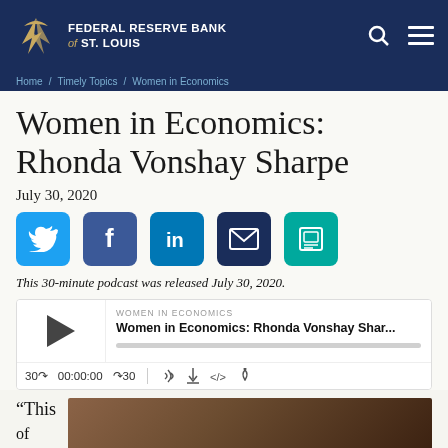FEDERAL RESERVE BANK of ST. LOUIS
Home / Timely Topics / Women in Economics
Women in Economics: Rhonda Vonshay Sharpe
July 30, 2020
[Figure (infographic): Social media sharing icons: Twitter, Facebook, LinkedIn, Email, Print]
This 30-minute podcast was released July 30, 2020.
[Figure (screenshot): Podcast player widget showing WOMEN IN ECONOMICS / Women in Economics: Rhonda Vonshay Shar... with play button, progress bar, and controls showing 30s back, 00:00:00, forward 30, RSS, download, embed icons]
“This